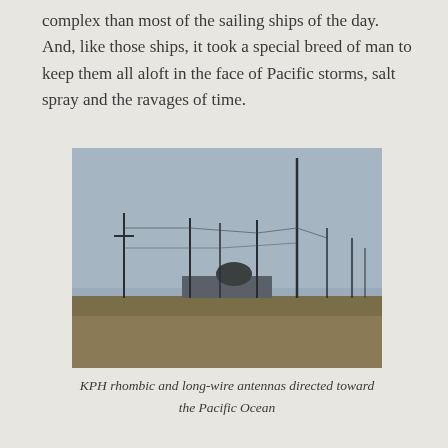complex than most of the sailing ships of the day. And, like those ships, it took a special breed of man to keep them all aloft in the face of Pacific storms, salt spray and the ravages of time.
[Figure (photo): Photograph of KPH rhombic and long-wire antennas in a field directed toward the Pacific Ocean. Multiple tall antenna masts are visible against a grey overcast sky, with dry grass in the foreground and a low building visible in the background.]
KPH rhombic and long-wire antennas directed toward the Pacific Ocean